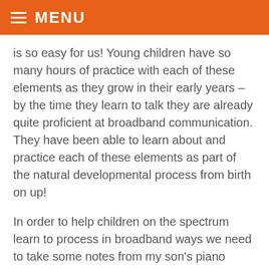MENU
is so easy for us! Young children have so many hours of practice with each of these elements as they grow in their early years – by the time they learn to talk they are already quite proficient at broadband communication. They have been able to learn about and practice each of these elements as part of the natural developmental process from birth on up!
In order to help children on the spectrum learn to process in broadband ways we need to take some notes from my son's piano teacher – start slowly with one element and add new components one at a time once competence has been established. Just as I would never expect him, at this point in his piano career, to play a piece of music perfectly the first time with the right notes, rhythm, volume, and hand position, I should not expect a child on the spectrum